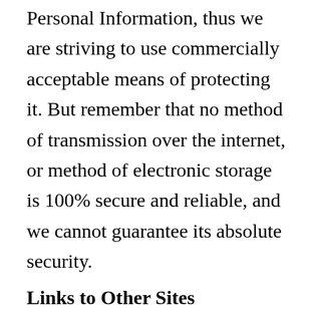Personal Information, thus we are striving to use commercially acceptable means of protecting it. But remember that no method of transmission over the internet, or method of electronic storage is 100% secure and reliable, and we cannot guarantee its absolute security.
Links to Other Sites
Our Service may contain links to other sites. If you click on a thirdparty link, you will be directed to that site. Note that these external